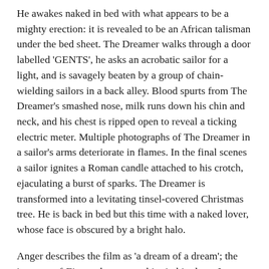He awakes naked in bed with what appears to be a mighty erection: it is revealed to be an African talisman under the bed sheet. The Dreamer walks through a door labelled 'GENTS', he asks an acrobatic sailor for a light, and is savagely beaten by a group of chain-wielding sailors in a back alley. Blood spurts from The Dreamer's smashed nose, milk runs down his chin and neck, and his chest is ripped open to reveal a ticking electric meter. Multiple photographs of The Dreamer in a sailor's arms deteriorate in flames. In the final scenes a sailor ignites a Roman candle attached to his crotch, ejaculating a burst of sparks. The Dreamer is transformed into a levitating tinsel-covered Christmas tree. He is back in bed but this time with a naked lover, whose face is obscured by a bright halo.
Anger describes the film as 'a dream of a dream'; the imagery of Fireworks came to him in his sleep. Its trance-like depiction of visceral brutality and sexual fantasy evokes a subconscious state in which external influences come into play. The Dreamer's narcissistic mirror gazing is a nod to Cocteau's 1930